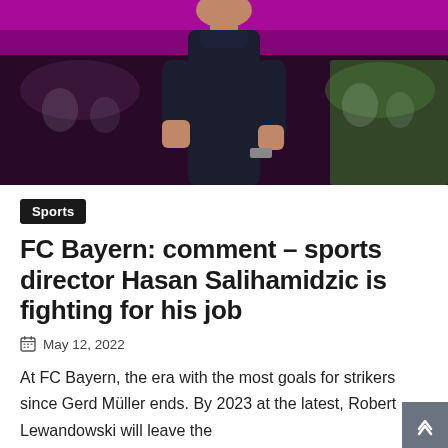[Figure (photo): A person in a dark navy outfit standing on a sports pitch or sideline, with a blurred crowd and pink/purple stadium background visible behind them.]
Sports
FC Bayern: comment – sports director Hasan Salihamidzic is fighting for his job
May 12, 2022
At FC Bayern, the era with the most goals for strikers since Gerd Müller ends. By 2023 at the latest, Robert Lewandowski will leave the